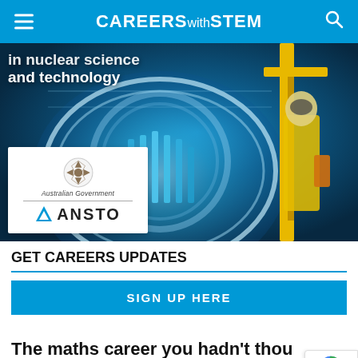CAREERS with STEM
[Figure (photo): ANSTO banner image showing a nuclear reactor interior with a scientist in yellow protective suit, with overlaid text 'in nuclear science and technology' and ANSTO/Australian Government logo]
GET CAREERS UPDATES
SIGN UP HERE
The maths career you hadn't thought of yet: renewable energy engineer